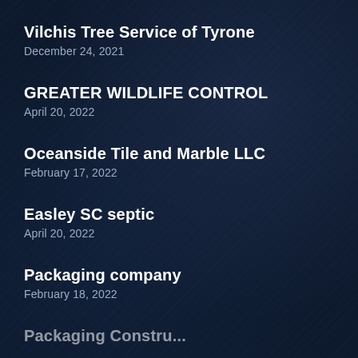Vilchis Tree Service of Tyrone
December 24, 2021
GREATER WILDLIFE CONTROL
April 20, 2022
Oceanside Tile and Marble LLC
February 17, 2022
Easley SC septic
April 20, 2022
Packaging company
February 18, 2022
Packaging Construction